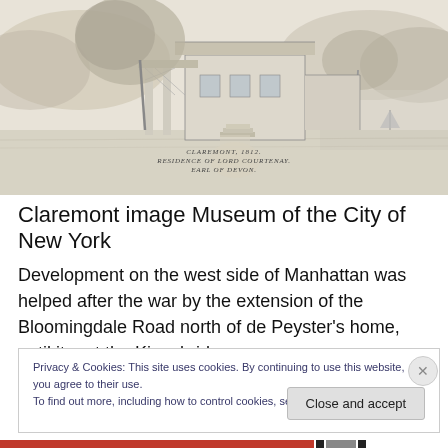[Figure (illustration): Historical sketch/etching of Claremont, 1812, residence of Lord Courtenay, Earl of Devon. Shows a house with a porch, trees, a path leading to it, and water with a sailboat in the background.]
CLAREMONT, 1812.
RESIDENCE OF LORD COURTENAY,
EARL OF DEVON.
Claremont image Museum of the City of New York
Development on the west side of Manhattan was helped after the war by the extension of the Bloomingdale Road north of de Peyster’s home, until it met the Kingsbridge
Privacy & Cookies: This site uses cookies. By continuing to use this website, you agree to their use.
To find out more, including how to control cookies, see here: Cookie Policy
Close and accept